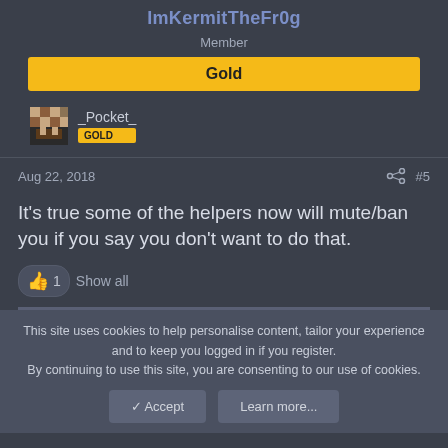ImKermitTheFr0g
Member
Gold
_Pocket_ GOLD
Aug 22, 2018  #5
It's true some of the helpers now will mute/ban you if you say you don't want to do that.
1  Show all
This site uses cookies to help personalise content, tailor your experience and to keep you logged in if you register. By continuing to use this site, you are consenting to our use of cookies.
Accept  Learn more...